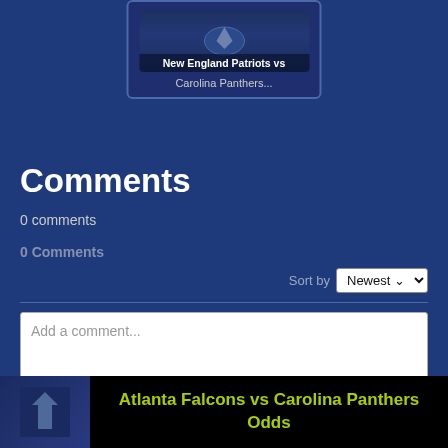[Figure (screenshot): Card thumbnail showing 'New England Patriots vs Carolina Panthers...' with a sports logo/eagle icon on dark blue background]
Comments
0 comments
0 Comments
Sort by Newest
Add a comment...
Facebook Comments Plugin
[Figure (screenshot): Bottom navigation card: thumbnail on left, black banner on right reading 'Atlanta Falcons vs Carolina Panthers Odds' in yellow-green text]